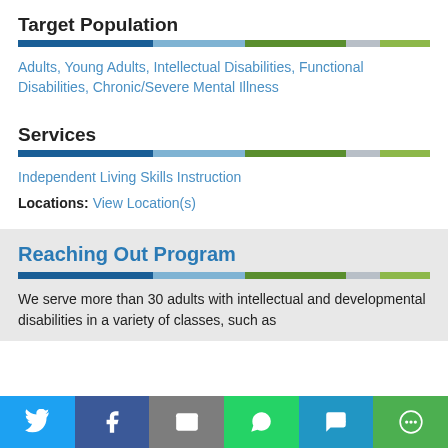Target Population
Adults, Young Adults, Intellectual Disabilities, Functional Disabilities, Chronic/Severe Mental Illness
Services
Independent Living Skills Instruction
Locations: View Location(s)
Reaching Out Program
We serve more than 30 adults with intellectual and developmental disabilities in a variety of classes, such as
Twitter, Facebook, Email, WhatsApp, SMS, More